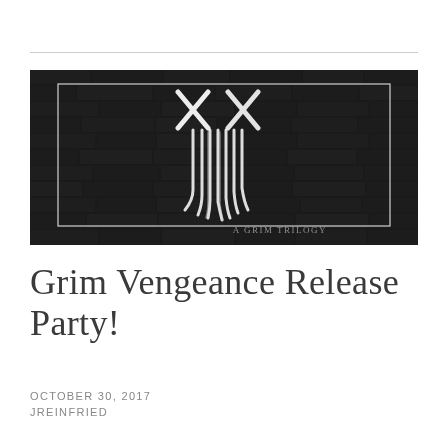[Figure (photo): Dark black and white photo of graffiti on a brick wall showing two X shapes as eyes and dripping paint as a skull/face motif, with text 'A GRIM TRILOGY' in the bottom right corner. A white rectangle border frames the inner portion of the image.]
Grim Vengeance Release Party!
OCTOBER 30, 2017
JREINFRIED